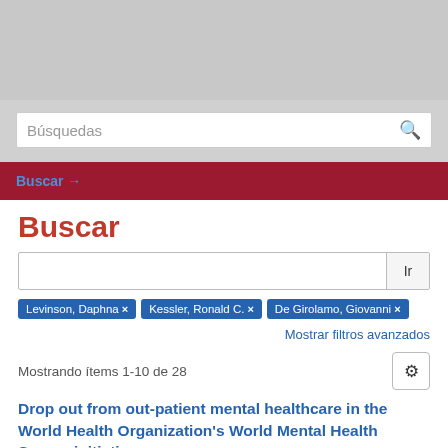[Figure (screenshot): Gray header area at top of webpage]
Búsquedas
Buscar →
Buscar
Ir
Levinson, Daphna ×
Kessler, Ronald C. ×
De Girolamo, Giovanni ×
Mostrar filtros avanzados
Mostrando ítems 1-10 de 28
Drop out from out-patient mental healthcare in the World Health Organization's World Mental Health Survey initiative